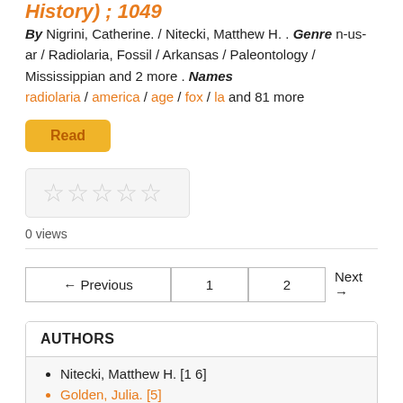History) ; 1049
By Nigrini, Catherine. / Nitecki, Matthew H. . Genre n-us-ar / Radiolaria, Fossil / Arkansas / Paleontology / Mississippian and 2 more . Names radiolaria / america / age / fox / la and 81 more
[Figure (other): Read button (yellow/orange)]
[Figure (other): 5 empty star rating widget in a light gray box]
0 views
← Previous  1  2  Next →
AUTHORS
Nitecki, Matthew H. [1 6]
Golden, Julia. [5]